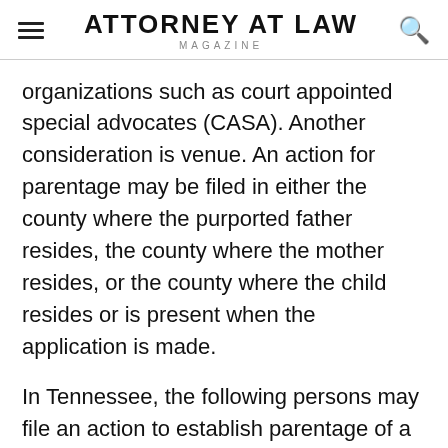ATTORNEY AT LAW MAGAZINE
organizations such as court appointed special advocates (CASA). Another consideration is venue. An action for parentage may be filed in either the county where the purported father resides, the county where the mother resides, or the county where the child resides or is present when the application is made.
In Tennessee, the following persons may file an action to establish parentage of a child:
The child’s mother. If the mother is a minor